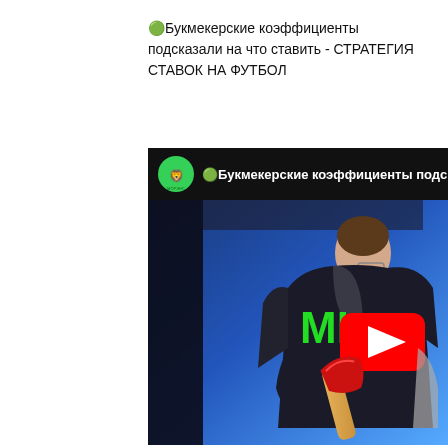🟢Букмекерские коэффициенты подсказали на что ставить - СТРАТЕГИЯ СТАВОК НА ФУТБОЛ
[Figure (screenshot): YouTube video thumbnail showing a man in a dark suit seen from behind holding an axe, with a blue background, green 'MI' text on his back, YouTube play button overlay, and channel avatar with text '🟢Букмекерские коэффициенты подс' in the header bar.]